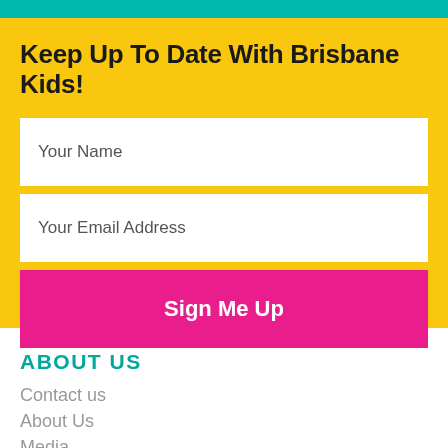Keep Up To Date With Brisbane Kids!
Your Name
Your Email Address
Sign Me Up
ABOUT US
Contact us
About Us
Media
Advertising
Privacy